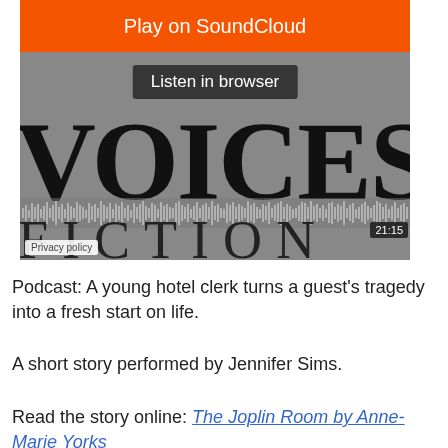[Figure (screenshot): SoundCloud embedded player showing 'Voices Fiction' podcast with orange Play on SoundCloud button, grey Listen in browser button, large VOICES text, waveform, FICTION text, time stamp 21:15, and Privacy policy link]
Podcast: A young hotel clerk turns a guest's tragedy into a fresh start on life.
A short story performed by Jennifer Sims.
Read the story online: The Joplin Room by Anne-Marie Yorks